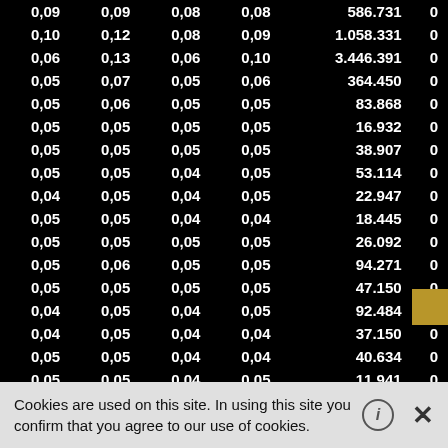| col1 | col2 | col3 | col4 | col5 | col6 |
| --- | --- | --- | --- | --- | --- |
| 0,09 | 0,09 | 0,08 | 0,08 | 586.731 | 0 |
| 0,10 | 0,12 | 0,08 | 0,09 | 1.058.331 | 0 |
| 0,06 | 0,13 | 0,06 | 0,10 | 3.446.391 | 0 |
| 0,05 | 0,07 | 0,05 | 0,06 | 364.450 | 0 |
| 0,05 | 0,06 | 0,05 | 0,05 | 83.868 | 0 |
| 0,05 | 0,05 | 0,05 | 0,05 | 16.932 | 0 |
| 0,05 | 0,05 | 0,05 | 0,05 | 38.907 | 0 |
| 0,05 | 0,05 | 0,04 | 0,05 | 53.114 | 0 |
| 0,04 | 0,05 | 0,04 | 0,05 | 22.947 | 0 |
| 0,05 | 0,05 | 0,04 | 0,04 | 18.445 | 0 |
| 0,05 | 0,05 | 0,05 | 0,05 | 26.092 | 0 |
| 0,05 | 0,06 | 0,05 | 0,05 | 94.271 | 0 |
| 0,05 | 0,05 | 0,05 | 0,05 | 47.150 | 0 |
| 0,04 | 0,05 | 0,04 | 0,05 | 92.484 | 0 |
| 0,04 | 0,05 | 0,04 | 0,04 | 37.150 | 0 |
| 0,05 | 0,05 | 0,04 | 0,04 | 40.634 | 0 |
| 0,05 | 0,05 | 0,04 | 0,05 | 11.941 | 0 |
Cookies are used on this site. In using this site you confirm that you agree to our use of cookies.